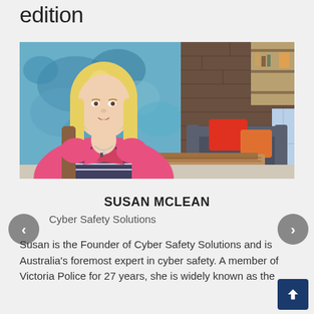edition
[Figure (photo): Woman with blonde hair wearing a pink blazer and striped top, seated in an interview/lounge setting with blue textured wall background, bookshelves, and a grey sofa with red and orange cushions in the background.]
SUSAN MCLEAN
Cyber Safety Solutions
Susan is the Founder of Cyber Safety Solutions and is Australia's foremost expert in cyber safety. A member of Victoria Police for 27 years, she is widely known as the